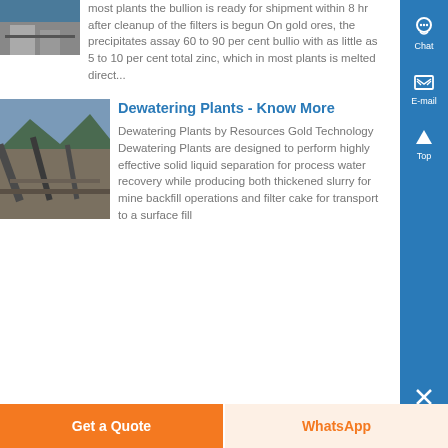[Figure (photo): Partial view of a mining/industrial facility photo at top left]
most plants the bullion is ready for shipment within 8 hr after cleanup of the filters is begun On gold ores, the precipitates assay 60 to 90 per cent bullio with as little as 5 to 10 per cent total zinc, which in most plants is melted direct...
[Figure (photo): Photo of a mine dewatering plant with conveyor belts and mountains in the background]
Dewatering Plants - Know More
Dewatering Plants by Resources Gold Technology Dewatering Plants are designed to perform highly effective solid liquid separation for process water recovery while producing both thickened slurry for mine backfill operations and filter cake for transport to a surface fill
Get a Quote | WhatsApp